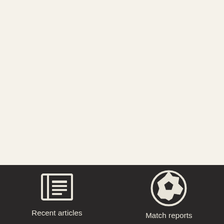other not. Either way it seems that Oliver's time up front is coming to an end with Bury, reported to be signing former Newcastle and Burton striker Calvin Zola on a week.
Zola has attracted interest from Burton Albion and Southend but is expected to join City...
[Figure (other): Navigation bar with two icons: a newspaper icon labeled 'Recent articles' and a soccer ball icon labeled 'Match reports']